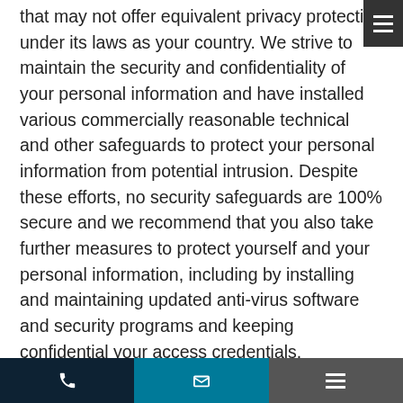that may not offer equivalent privacy protection under its laws as your country. We strive to maintain the security and confidentiality of your personal information and have installed various commercially reasonable technical and other safeguards to protect your personal information from potential intrusion. Despite these efforts, no security safeguards are 100% secure and we recommend that you also take further measures to protect yourself and your personal information, including by installing and maintaining updated anti-virus software and security programs and keeping confidential your access credentials.
Visitors to Our Sites From Outside the United States
Our Sites and the services and content on our Sites are